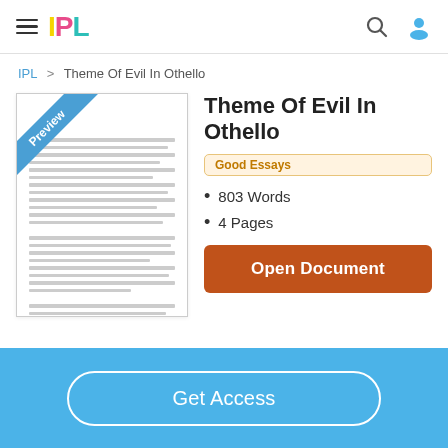IPL
IPL > Theme Of Evil In Othello
[Figure (illustration): Document preview thumbnail with blue 'Preview' ribbon in top-left corner and grey lines representing text content]
Theme Of Evil In Othello
Good Essays
803 Words
4 Pages
Open Document
Get Access